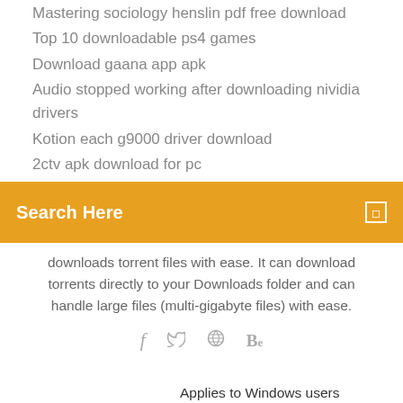Mastering sociology henslin pdf free download
Top 10 downloadable ps4 games
Download gaana app apk
Audio stopped working after downloading nividia drivers
Kotion each g9000 driver download
2ctv apk download for pc
[Figure (screenshot): Orange search bar with 'Search Here' text and a small square icon on the right]
downloads torrent files with ease. It can download torrents directly to your Downloads folder and can handle large files (multi-gigabyte files) with ease.
[Figure (infographic): Social media icons: facebook, twitter, dribbble, behance]
Applies to Windows users who sign in to a managed account on Chrome Browser. As a Microsoft Windows administrator, you can use Google Update